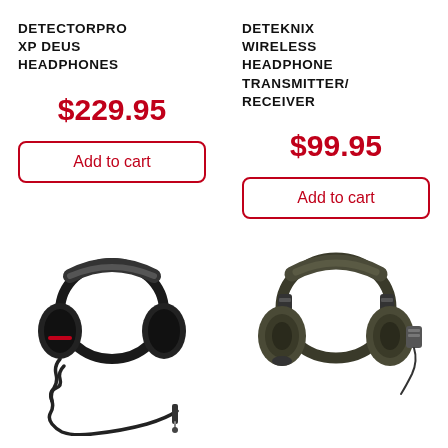DETECTORPRO XP DEUS HEADPHONES
$229.95
Add to cart
DETEKNIX WIRELESS HEADPHONE TRANSMITTER/RECEIVER
$99.95
Add to cart
[Figure (photo): Black over-ear headphones with coiled cable and audio jack plug]
[Figure (photo): Olive/dark green over-ear headphones with headband and wire]